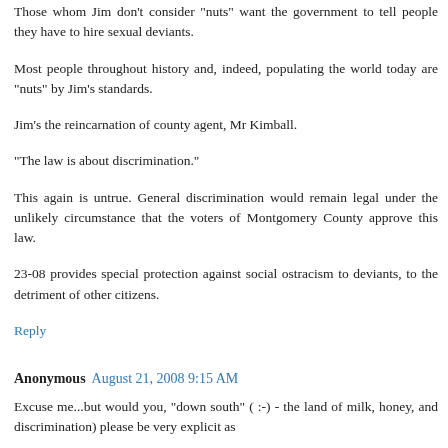Those whom Jim don't consider "nuts" want the government to tell people they have to hire sexual deviants.
Most people throughout history and, indeed, populating the world today are "nuts" by Jim's standards.
Jim's the reincarnation of county agent, Mr Kimball.
"The law is about discrimination."
This again is untrue. General discrimination would remain legal under the unlikely circumstance that the voters of Montgomery County approve this law.
23-08 provides special protection against social ostracism to deviants, to the detriment of other citizens.
Reply
Anonymous August 21, 2008 9:15 AM
Excuse me...but would you, "down south" ( :-) - the land of milk, honey, and discrimination) please be very explicit as